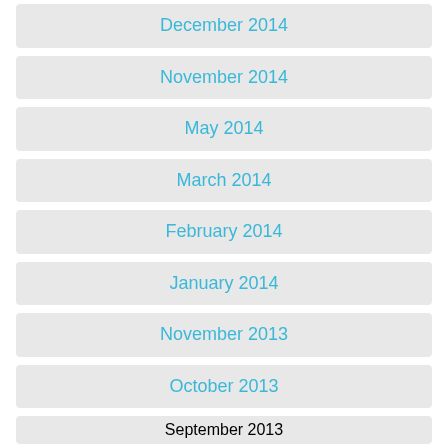December 2014
November 2014
May 2014
March 2014
February 2014
January 2014
November 2013
October 2013
September 2013